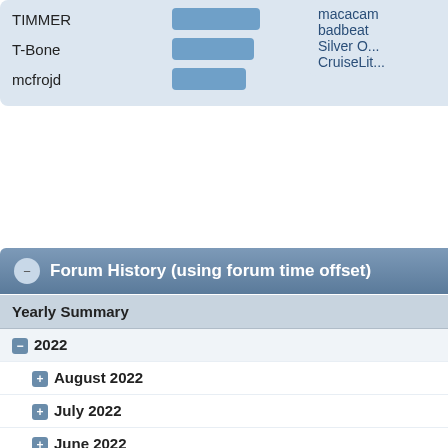| Name |  | Count |
| --- | --- | --- |
| TIMMER |  | 42 |
| T-Bone |  | 39 |
| mcfrojd |  | 37 |
Forum History (using forum time offset)
| Yearly Summary | New Topics | New Posts |
| --- | --- | --- |
| — 2022 | 708 | 1030 |
| + August 2022 | 144 | 168 |
| + July 2022 | 76 | 90 |
| + June 2022 | 83 | 97 |
| + May 2022 | 88 | 101 |
| + April 2022 | 64 | 114 |
| + March 2022 | 80 | 120 |
| + February 2022 | 112 | 185 |
| + January 2022 | 61 | 155 |
| + 2021 | 357 | 866 |
| + 2020 | 329 | 897 |